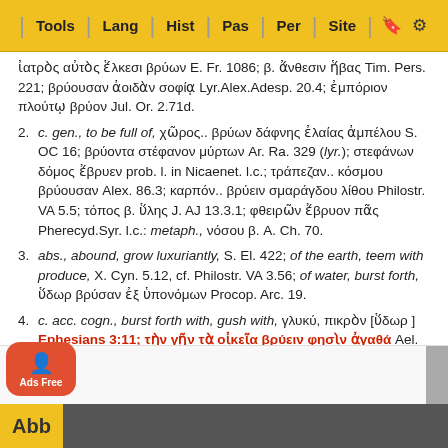Tools | Lang | Hist | Pas | Per | Site
ἰατρὸς αὐτὸς ἕλκεσι βρύων E. Fr. 1086; β. ἄνθεσιν ἥβας Tim. Pers. 221; βρύουσαν ἀοιδὰν σοφίᾳ Lyr.Alex.Adesp. 20.4; ἐμπόριον πλούτῳ βρύον Jul. Or. 2.71d.
2. c. gen., to be full of, χῶρος.. βρύων δάφνης ἐλαίας ἀμπέλου S. OC 16; βρύοντα στέφανον μύρτων Ar. Ra. 329 (lyr.); στεφάνων δόμος ἔβρυεν prob. l. in Nicaenet. l.c.; τράπεζαν.. κόσμου βρύουσαν Alex. 86.3; καρπόν.. βρύειν σμαράγδου λίθου Philostr. VA 5.5; τόπος β. ὕλης J. AJ 13.3.1; φθειρῶν ἔβρυον πᾶς Pherecyd.Syr. l.c.: metaph., νόσου β. A. Ch. 70.
3. abs., abound, grow luxuriantly, S. El. 422; of the earth, teem with produce, X. Cyn. 5.12, cf. Philostr. VA 3.56; of water, burst forth, ὕδωρ βρύσαν ἐξ ὑπονόμων Procop. Arc. 19.
4. c. acc. cogn., burst forth with, gush with, γλυκύ, πικρὸν [ὕδωρ] Ephesians 3:11; τὴν γῆν τὰ οἰκεῖα βρύειν φησὶν ἀγαθά Ael. Fr. 25; causal, Ὧραι β. λειμῶνας Him. Or. 1.19; ῥόδα Anacreont. 44.2. — Poet. and later Prose.
Abb